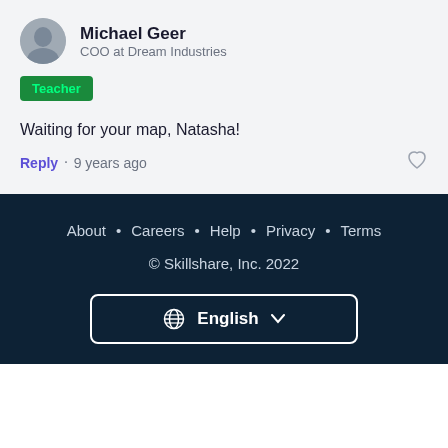Michael Geer
COO at Dream Industries
Teacher
Waiting for your map, Natasha!
Reply · 9 years ago
About · Careers · Help · Privacy · Terms
© Skillshare, Inc. 2022
English